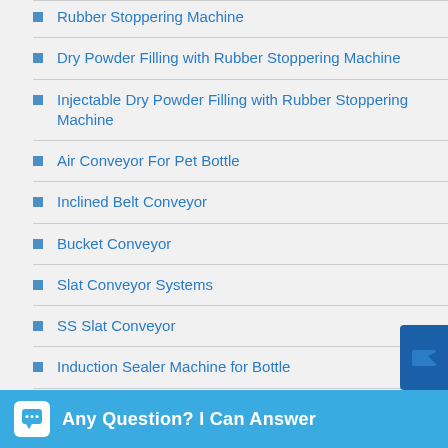Rubber Stoppering Machine
Dry Powder Filling with Rubber Stoppering Machine
Injectable Dry Powder Filling with Rubber Stoppering Machine
Air Conveyor For Pet Bottle
Inclined Belt Conveyor
Bucket Conveyor
Slat Conveyor Systems
SS Slat Conveyor
Induction Sealer Machine for Bottle
Induction Cap Sealing Machine
Wad Cap Sealing Machine and Induction Cap Sealing Machines
Any Question? I Can Answer